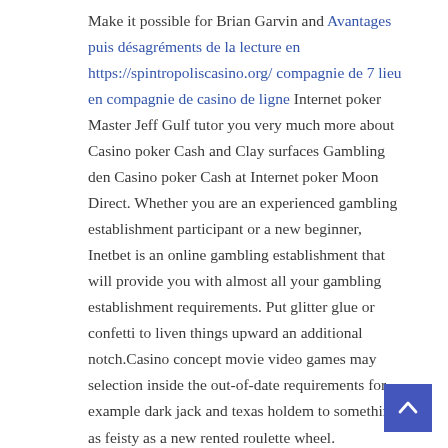Make it possible for Brian Garvin and Avantages puis désagréments de la lecture en https://spintropoliscasino.org/ compagnie de 7 lieu en compagnie de casino de ligne Internet poker Master Jeff Gulf tutor you very much more about Casino poker Cash and Clay surfaces Gambling den Casino poker Cash at Internet poker Moon Direct. Whether you are an experienced gambling establishment participant or a new beginner, Inetbet is an online gambling establishment that will provide you with almost all your gambling establishment requirements. Put glitter glue or confetti to liven things upward an additional notch.Casino concept movie video games may selection inside the out-of-date requirements for example dark jack and texas holdem to something as feisty as a new rented roulette wheel.
Boomtown gives you an important catalog of the most desirable online spots to begin with. Income game titles,